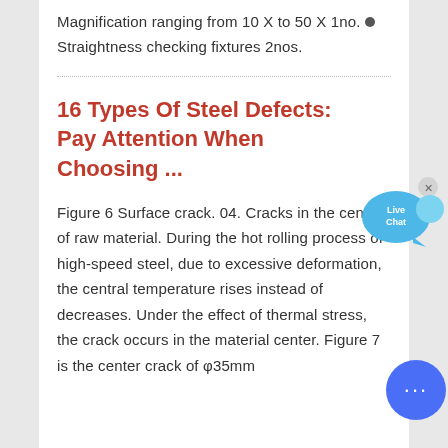Magnification ranging from 10 X to 50 X 1no. ● Straightness checking fixtures 2nos.
16 Types Of Steel Defects: Pay Attention When Choosing ...
Figure 6 Surface crack. 04. Cracks in the center of raw material. During the hot rolling process of high-speed steel, due to excessive deformation, the central temperature rises instead of decreases. Under the effect of thermal stress, the crack occurs in the material center. Figure 7 is the center crack of φ35mm
[Figure (other): Live Chat speech bubble widget in blue/cyan color with 'Live Chat' text and an X close button]